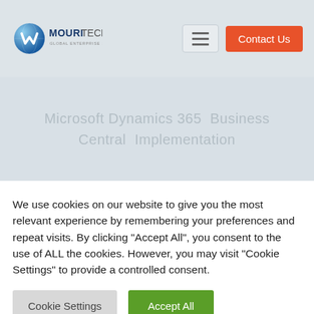[Figure (logo): Mouri Tech logo with globe/M icon and text 'MOURITECH GLOBAL ENTERPRISE SOLUTIONS']
[Figure (screenshot): Hero banner area with faint background text (blurred/faded) on light blue-gray background]
We use cookies on our website to give you the most relevant experience by remembering your preferences and repeat visits. By clicking "Accept All", you consent to the use of ALL the cookies. However, you may visit "Cookie Settings" to provide a controlled consent.
Cookie Settings
Accept All